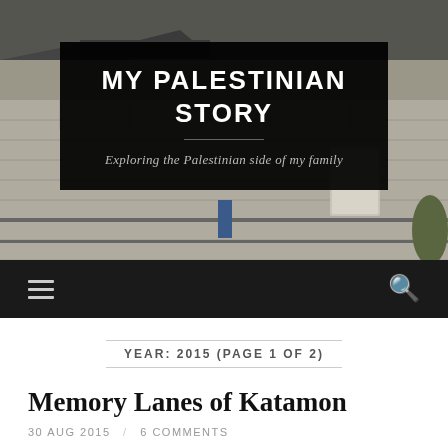[Figure (photo): Background photo of a stone building with a dark sky, partially visible roof tiles and a stone fence. Shows a Middle Eastern architectural style.]
MY PALESTINIAN STORY
Exploring the Palestinian side of my family
YEAR: 2015 (PAGE 1 OF 2)
Memory Lanes of Katamon
30 AUG 2015 / 6 COMMENTS
ne of the things I tried and failed to do last